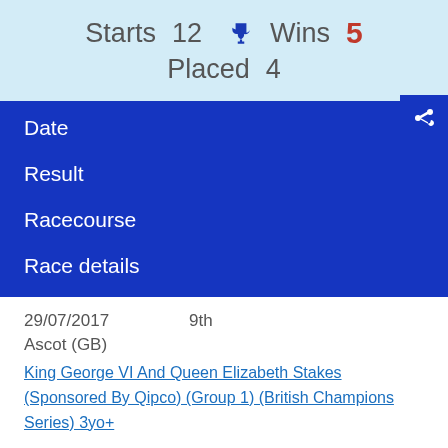Starts 12 🏆 Wins 5 Placed 4
| Date | Result | Racecourse | Race details |
| --- | --- | --- | --- |
| 29/07/2017 | 9th | Ascot (GB) | King George VI And Queen Elizabeth Stakes (Sponsored By Qipco) (Group 1) (British Champions Series) 3yo+ |
| 21/06/2017 | 8th |  |  |
21/06/2017   8th